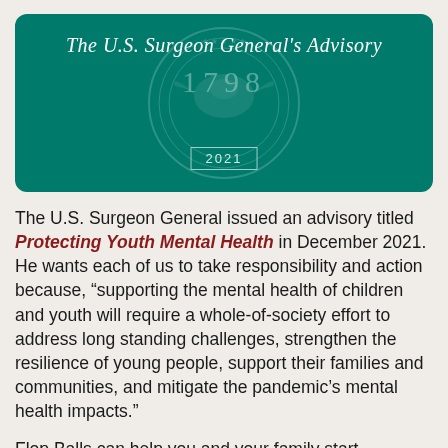[Figure (illustration): Teal/green rounded rectangle header image showing 'The U.S. Surgeon General's Advisory' in italic white text, a faint official seal watermark with '1798', and a bordered box with '2021']
The U.S. Surgeon General issued an advisory titled Protecting Youth Mental Health in December 2021. He wants each of us to take responsibility and action because, “supporting the mental health of children and youth will require a whole-of-society effort to address long standing challenges, strengthen the resilience of young people, support their families and communities, and mitigate the pandemic’s mental health impacts.”
Flop Balls can help you and your family start implementing steps the Surgeon General